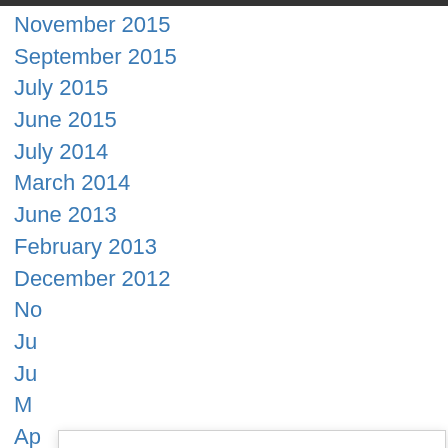November 2015
September 2015
July 2015
June 2015
July 2014
March 2014
June 2013
February 2013
December 2012
No…
Ju…
Ju…
M…
Ap…
March 2012
Privacy & Cookies: This site uses cookies. By continuing to use this website, you agree to their use.
To find out more, including how to control cookies, see here:
Cookie Policy
Close and accept